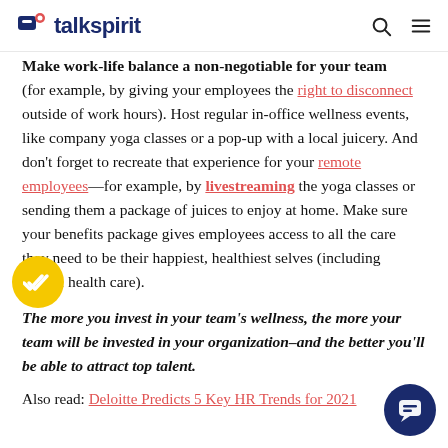talkspirit
Make work-life balance a non-negotiable for your team
(for example, by giving your employees the right to disconnect outside of work hours). Host regular in-office wellness events, like company yoga classes or a pop-up with a local juicery. And don't forget to recreate that experience for your remote employees—for example, by livestreaming the yoga classes or sending them a package of juices to enjoy at home. Make sure your benefits package gives employees access to all the care they need to be their happiest, healthiest selves (including mental health care).
The more you invest in your team's wellness, the more your team will be invested in your organization–and the better you'll be able to attract top talent.
Also read: Deloitte Predicts 5 Key HR Trends for 2021